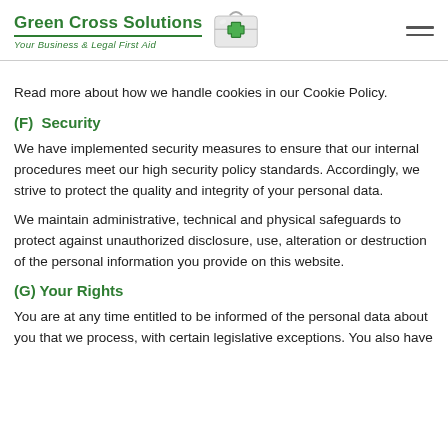Green Cross Solutions | Your Business & Legal First Aid
Read more about how we handle cookies in our Cookie Policy.
(F)  Security
We have implemented security measures to ensure that our internal procedures meet our high security policy standards. Accordingly, we strive to protect the quality and integrity of your personal data.
We maintain administrative, technical and physical safeguards to protect against unauthorized disclosure, use, alteration or destruction of the personal information you provide on this website.
(G) Your Rights
You are at any time entitled to be informed of the personal data about you that we process, with certain legislative exceptions. You also have